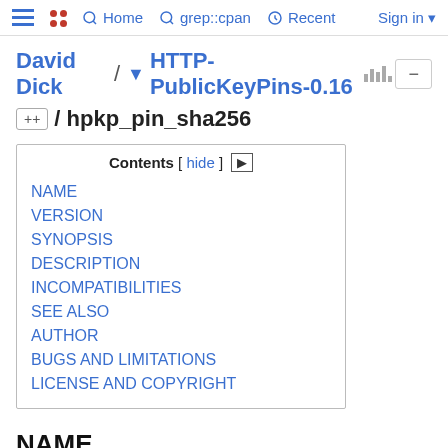Home  grep::cpan  Recent  Sign in
David Dick / ▾ HTTP-PublicKeyPins-0.16 / hpkp_pin_sha256
| NAME |
| VERSION |
| SYNOPSIS |
| DESCRIPTION |
| INCOMPATIBILITIES |
| SEE ALSO |
| AUTHOR |
| BUGS AND LIMITATIONS |
| LICENSE AND COPYRIGHT |
NAME